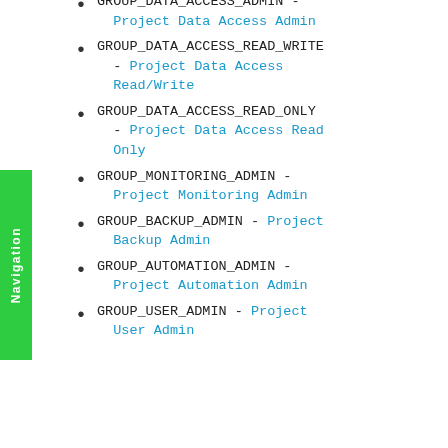GROUP_DATA_ACCESS_ADMIN - Project Data Access Admin
GROUP_DATA_ACCESS_READ_WRITE - Project Data Access Read/Write
GROUP_DATA_ACCESS_READ_ONLY - Project Data Access Read Only
GROUP_MONITORING_ADMIN - Project Monitoring Admin
GROUP_BACKUP_ADMIN - Project Backup Admin
GROUP_AUTOMATION_ADMIN - Project Automation Admin
GROUP_USER_ADMIN - Project User Admin